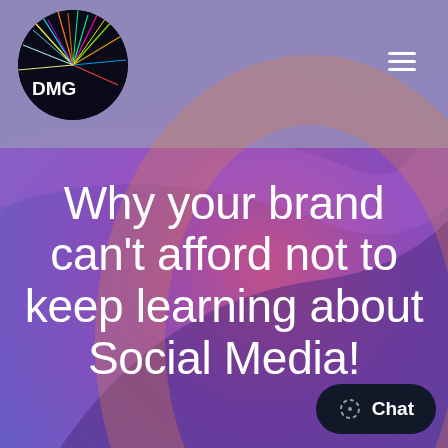[Figure (logo): DMG logo: dark sphere with colorful fiber-optic lines radiating outward]
Why your brand can't afford not to keep learning about Social Media!